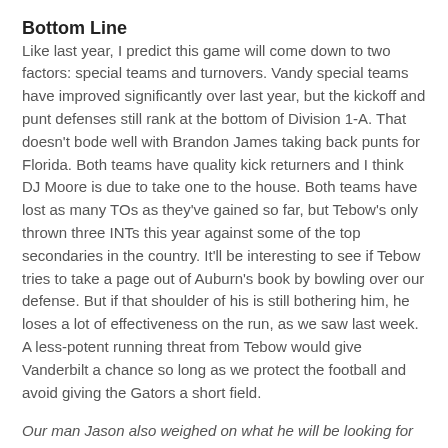Bottom Line
Like last year, I predict this game will come down to two factors: special teams and turnovers. Vandy special teams have improved significantly over last year, but the kickoff and punt defenses still rank at the bottom of Division 1-A. That doesn't bode well with Brandon James taking back punts for Florida. Both teams have quality kick returners and I think DJ Moore is due to take one to the house. Both teams have lost as many TOs as they've gained so far, but Tebow's only thrown three INTs this year against some of the top secondaries in the country. It'll be interesting to see if Tebow tries to take a page out of Auburn's book by bowling over our defense. But if that shoulder of his is still bothering him, he loses a lot of effectiveness on the run, as we saw last week. A less-potent running threat from Tebow would give Vanderbilt a chance so long as we protect the football and avoid giving the Gators a short field.
Our man Jason also weighed on what he will be looking for this weekend: